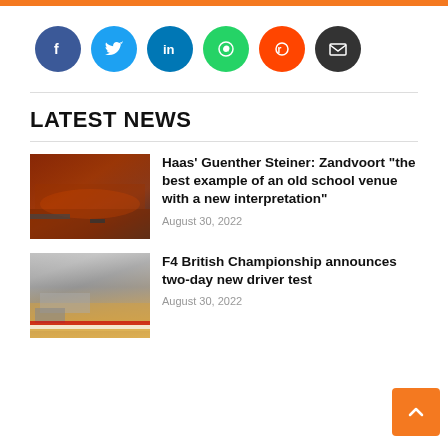[Figure (infographic): Orange top bar]
[Figure (infographic): Social media share buttons: Facebook (blue circle), Twitter (light blue circle), LinkedIn (blue circle), WhatsApp (green circle), Reddit (orange circle), Email (dark circle)]
LATEST NEWS
[Figure (photo): Racing circuit with spectators and smoke, overhead view]
Haas' Guenther Steiner: Zandvoort “the best example of an old school venue with a new interpretation”
August 30, 2022
[Figure (photo): F4 racing cars on track with red and white barriers]
F4 British Championship announces two-day new driver test
August 30, 2022